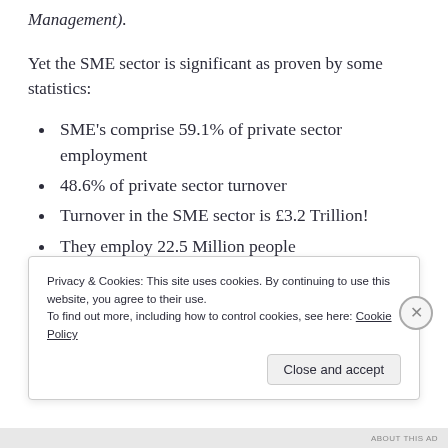Management).
Yet the SME sector is significant as proven by some statistics:
SME's comprise 59.1% of private sector employment
48.6% of private sector turnover
Turnover in the SME sector is £3.2 Trillion!
They employ 22.5 Million people
Privacy & Cookies: This site uses cookies. By continuing to use this website, you agree to their use.
To find out more, including how to control cookies, see here: Cookie Policy
ABOUT THIS AD